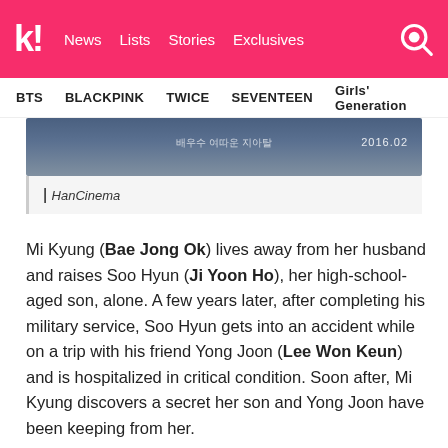k! News Lists Stories Exclusives
BTS BLACKPINK TWICE SEVENTEEN Girls' Generation
[Figure (photo): Partial cropped movie or drama still image with Korean text overlay and date 2016.02]
| HanCinema
Mi Kyung (Bae Jong Ok) lives away from her husband and raises Soo Hyun (Ji Yoon Ho), her high-school-aged son, alone. A few years later, after completing his military service, Soo Hyun gets into an accident while on a trip with his friend Yong Joon (Lee Won Keun) and is hospitalized in critical condition. Soon after, Mi Kyung discovers a secret her son and Yong Joon have been keeping from her.